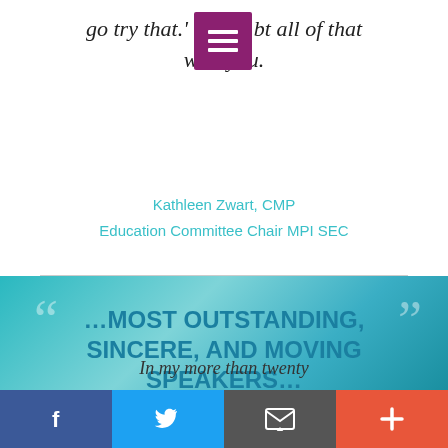go try that.' [menu icon] bt all of that with you.
Kathleen Zwart, CMP
Education Committee Chair MPI SEC
““ …MOST OUTSTANDING, SINCERE, AND MOVING SPEAKERS… ””
In my more than twenty
[Figure (screenshot): Social media share bar with Facebook, Twitter, Email, and Plus buttons at the bottom of the page]